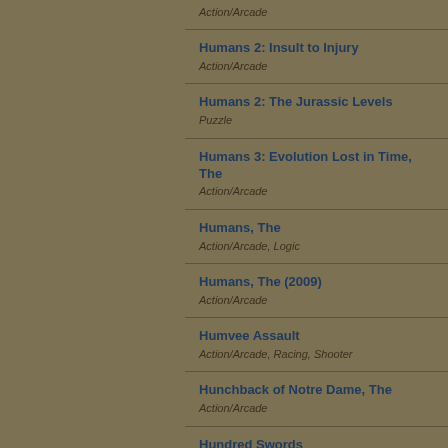Action/Arcade
Humans 2: Insult to Injury
Action/Arcade
Humans 2: The Jurassic Levels
Puzzle
Humans 3: Evolution Lost in Time, The
Action/Arcade
Humans, The
Action/Arcade, Logic
Humans, The (2009)
Action/Arcade
Humvee Assault
Action/Arcade, Racing, Shooter
Hunchback of Notre Dame, The
Action/Arcade
Hundred Swords
Стратегии
Hunt for the Red Baron
Action/Arcade, Симуляторы